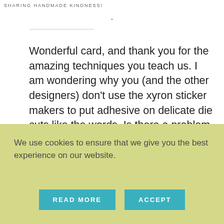SHARING HANDMADE KINDNESS!
-
Wonderful card, and thank you for the amazing techniques you teach us. I am wondering why you (and the other designers) don't use the xyron sticker makers to put adhesive on delicate die cuts like the words. Is there a problem with them?
Reply
We use cookies to ensure that we give you the best experience on our website.
READ MORE
ACCEPT